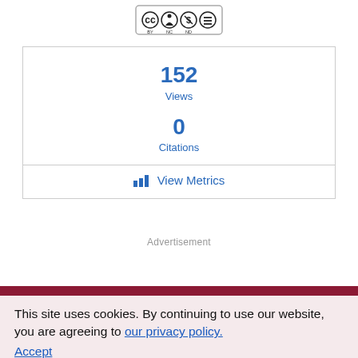[Figure (logo): Creative Commons CC BY NC ND license icon]
| 152 | Views |
| 0 | Citations |
View Metrics
Advertisement
This site uses cookies. By continuing to use our website, you are agreeing to our privacy policy. Accept